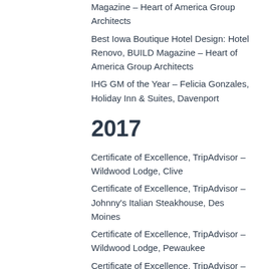Magazine – Heart of America Group Architects
Best Iowa Boutique Hotel Design: Hotel Renovo, BUILD Magazine – Heart of America Group Architects
IHG GM of the Year – Felicia Gonzales, Holiday Inn & Suites, Davenport
2017
Certificate of Excellence, TripAdvisor – Wildwood Lodge, Clive
Certificate of Excellence, TripAdvisor – Johnny's Italian Steakhouse, Des Moines
Certificate of Excellence, TripAdvisor – Wildwood Lodge, Pewaukee
Certificate of Excellence, TripAdvisor – Hotel Renovo, Urbandale